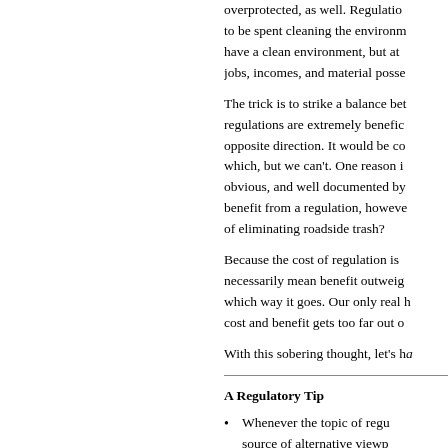overprotected, as well. Regulations cost money to be spent cleaning the environment. People want to have a clean environment, but at what cost in terms of jobs, incomes, and material possessions?
The trick is to strike a balance between the point regulations are extremely beneficial, going in the opposite direction. It would be convenient to know which, but we can't. One reason is that costs are obvious, and well documented by those who must pay. benefit from a regulation, however, who can measure the of eliminating roadside trash?
Because the cost of regulation is more visible, that not necessarily mean benefit outweighs cost, or vice versa, which way it goes. Our only real hope is to intervene when cost and benefit gets too far out of
With this sobering thought, let's ha
A Regulatory Tip
Whenever the topic of regu source of alternative viewp businesses oppose them. C likely to hear from both side have wealth, power, and in inclined to favor the argum often less powerful membe